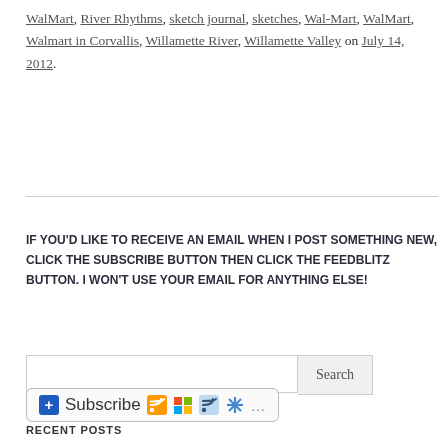WalMart, River Rhythms, sketch journal, sketches, Wal-Mart, WalMart, Walmart in Corvallis, Willamette River, Willamette Valley on July 14, 2012.
IF YOU'D LIKE TO RECEIVE AN EMAIL WHEN I POST SOMETHING NEW, CLICK THE SUBSCRIBE BUTTON THEN CLICK THE FEEDBLITZ BUTTON. I WON'T USE YOUR EMAIL FOR ANYTHING ELSE!
[Figure (screenshot): Subscribe button with RSS feed icons and other subscription service icons]
RECENT POSTS